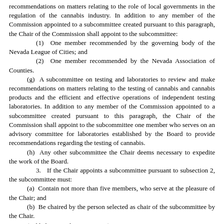recommendations on matters relating to the role of local governments in the regulation of the cannabis industry. In addition to any member of the Commission appointed to a subcommittee created pursuant to this paragraph, the Chair of the Commission shall appoint to the subcommittee:
(1) One member recommended by the governing body of the Nevada League of Cities; and
(2) One member recommended by the Nevada Association of Counties.
(g) A subcommittee on testing and laboratories to review and make recommendations on matters relating to the testing of cannabis and cannabis products and the efficient and effective operations of independent testing laboratories. In addition to any member of the Commission appointed to a subcommittee created pursuant to this paragraph, the Chair of the Commission shall appoint to the subcommittee one member who serves on an advisory committee for laboratories established by the Board to provide recommendations regarding the testing of cannabis.
(h) Any other subcommittee the Chair deems necessary to expedite the work of the Board.
3. If the Chair appoints a subcommittee pursuant to subsection 2, the subcommittee must:
(a) Contain not more than five members, who serve at the pleasure of the Chair; and
(b) Be chaired by the person selected as chair of the subcommittee by the Chair.
(Added to NRS by 2019, 3774)
NRS 678A.310 Duties; subcommittees. [Effective January 1, 2022.]
1. The Commission shall:
(a) Consider all matters submitted to it by the Board, the Governor or the Legislature;
(b) On its own initiative, recommend to the Board any guidelines, rules or regulations or any changes to existing guidelines, rules or regulations that the Commission considers important or necessary for the review and consideration of the Board;
(c) Advise the Board on the preparation of any regulations adopted pursuant